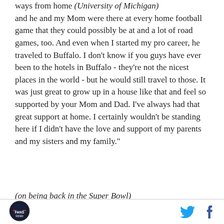ways from home (University of Michigan) and he and my Mom were there at every home football game that they could possibly be at and a lot of road games, too. And even when I started my pro career, he traveled to Buffalo. I don't know if you guys have ever been to the hotels in Buffalo - they're not the nicest places in the world - but he would still travel to those. It was just great to grow up in a house like that and feel so supported by your Mom and Dad. I've always had that great support at home. I certainly wouldn't be standing here if I didn't have the love and support of my parents and my sisters and my family."
(on being back in the Super Bowl)
[Figure (logo): Fansided logo - circular sports media logo]